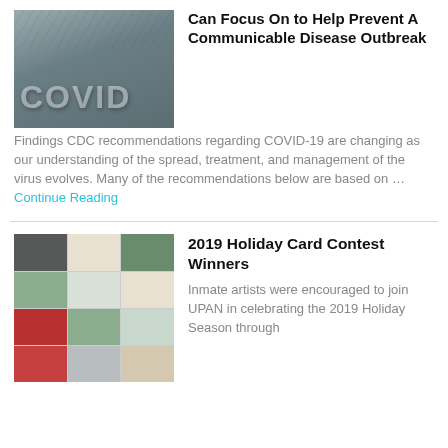[Figure (photo): Photo of a wall with COVID painted/stencilled in large white letters, with wire/branches overhead, grayish outdoor setting.]
Can Focus On to Help Prevent A Communicable Disease Outbreak
Findings CDC recommendations regarding COVID-19 are changing as our understanding of the spread, treatment, and management of the virus evolves. Many of the recommendations below are based on … Continue Reading
[Figure (photo): Collage grid of holiday greeting cards with winter/Christmas themes, featuring decorations, greenery, and red color accents.]
2019 Holiday Card Contest Winners
Inmate artists were encouraged to join UPAN in celebrating the 2019 Holiday Season through